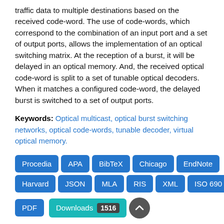traffic data to multiple destinations based on the received code-word. The use of code-words, which correspond to the combination of an input port and a set of output ports, allows the implementation of an optical switching matrix. At the reception of a burst, it will be delayed in an optical memory. And, the received optical code-word is split to a set of tunable optical decoders. When it matches a configured code-word, the delayed burst is switched to a set of output ports.
Keywords: Optical multicast, optical burst switching networks, optical code-words, tunable decoder, virtual optical memory.
[Figure (other): Citation format buttons: Procedia, APA, BibTeX, Chicago, EndNote, Harvard, JSON, MLA, RIS, XML, ISO 690, PDF. Downloads count badge: 1516 with scroll-to-top button.]